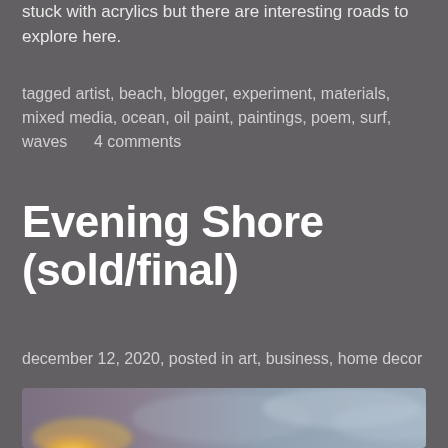stuck with acrylics but there are interesting roads to explore here.
tagged artist, beach, blogger, experiment, materials, mixed media, ocean, oil paint, paintings, poem, surf, waves     4 comments
Evening Shore (sold/final)
december 12, 2020, posted in art, business, home decor
[Figure (photo): Abstract painting of an evening shore scene with golden light on the left and misty blue-grey tones on the right, suggesting waves or clouds]